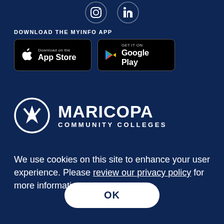[Figure (logo): Social media icons: Instagram and LinkedIn circular icons in white on dark blue background]
DOWNLOAD THE MYINFO APP
[Figure (screenshot): App Store and Google Play download buttons side by side on black backgrounds with rounded borders]
[Figure (logo): Maricopa Community Colleges logo with white M icon and text MARICOPA COMMUNITY COLLEGES]
We use cookies on this site to enhance your user experience. Please review our privacy policy for more information.
OK